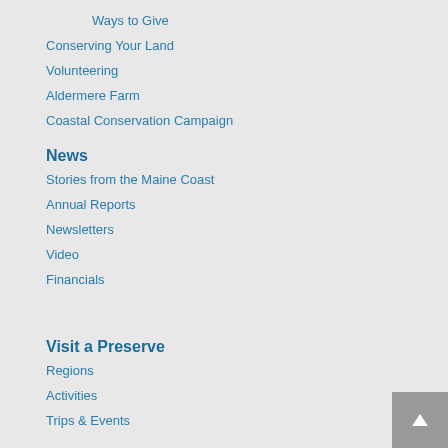Ways to Give
Conserving Your Land
Volunteering
Aldermere Farm
Coastal Conservation Campaign
News
Stories from the Maine Coast
Annual Reports
Newsletters
Video
Financials
Visit a Preserve
Regions
Activities
Trips & Events